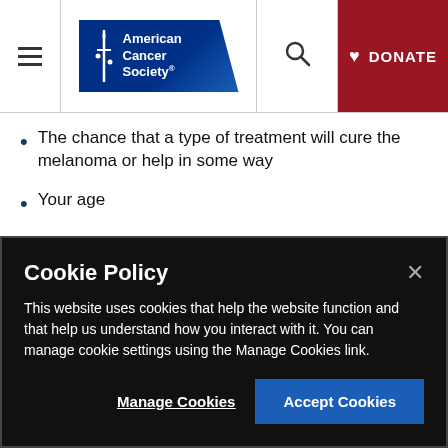American Cancer Society — navigation header with menu, logo, search, and donate button
The chance that a type of treatment will cure the melanoma or help in some way
Your age
Other health problems you have
Your feelings about the treatment and the side effects that come with it
Cookie Policy

This website uses cookies that help the website function and that help us understand how you interact with it. You can manage cookie settings using the Manage Cookies link.

Manage Cookies | Accept Cookies